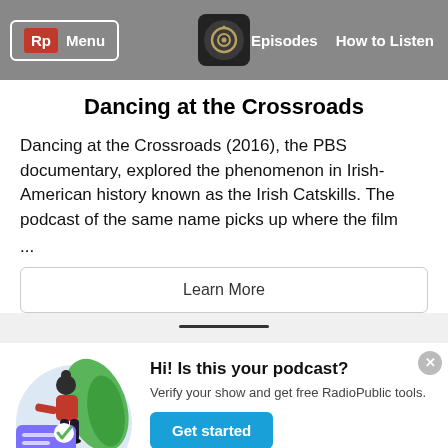Rp Menu | Episodes | How to Listen
Dancing at the Crossroads
Dancing at the Crossroads (2016), the PBS documentary, explored the phenomenon in Irish-American history known as the Irish Catskills. The podcast of the same name picks up where the film ...
Learn More
[Figure (illustration): Illustrated woman in red top verifying a document with a checkmark, with green leaves in background, on a light blue circular background]
Hi! Is this your podcast? Verify your show and get free RadioPublic tools.
Get started